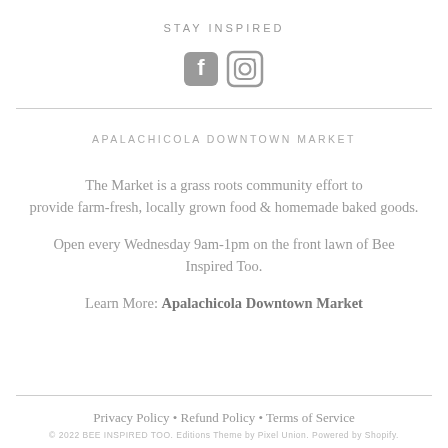STAY INSPIRED
[Figure (illustration): Facebook and Instagram social media icons (rounded square icons)]
APALACHICOLA DOWNTOWN MARKET
The Market is a grass roots community effort to provide farm-fresh, locally grown food & homemade baked goods.
Open every Wednesday 9am-1pm on the front lawn of Bee Inspired Too.
Learn More: Apalachicola Downtown Market
Privacy Policy • Refund Policy • Terms of Service
© 2022 BEE INSPIRED TOO. Editions Theme by Pixel Union. Powered by Shopify.